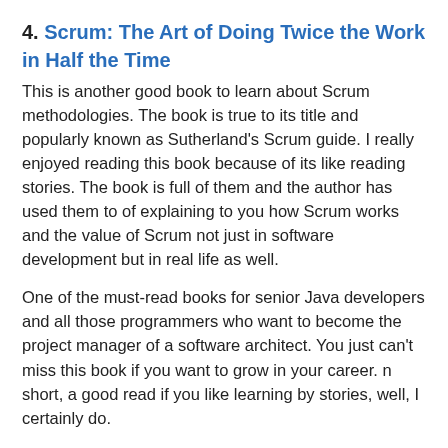4. Scrum: The Art of Doing Twice the Work in Half the Time
This is another good book to learn about Scrum methodologies. The book is true to its title and popularly known as Sutherland's Scrum guide. I really enjoyed reading this book because of its like reading stories. The book is full of them and the author has used them to of explaining to you how Scrum works and the value of Scrum not just in software development but in real life as well.
One of the must-read books for senior Java developers and all those programmers who want to become the project manager of a software architect. You just can't miss this book if you want to grow in your career. n short, a good read if you like learning by stories, well, I certainly do.
If you want, you can also combine this book with the Scrum Fundamentals By David Starr course on Pluralsight. It's free for the whole of April as Pluralsight is helping people to learn online at this time.